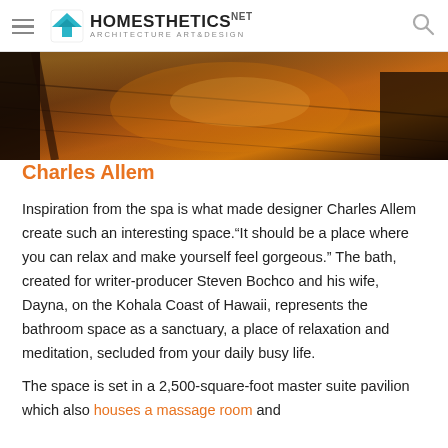Homesthetics — Architecture Art & Design
[Figure (photo): Partial interior photo showing dark hardwood flooring with warm amber/orange light reflecting off the surface, and dark wooden furniture visible at the edges. Appears to be a bathroom or living space.]
Charles Allem
Inspiration from the spa is what made designer Charles Allem create such an interesting space.“It should be a place where you can relax and make yourself feel gorgeous.” The bath, created for writer-producer Steven Bochco and his wife, Dayna, on the Kohala Coast of Hawaii, represents the bathroom space as a sanctuary, a place of relaxation and meditation, secluded from your daily busy life.
The space is set in a 2,500-square-foot master suite pavilion which also houses a massage room and